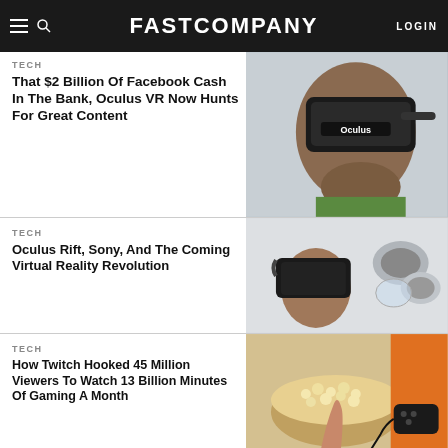FAST COMPANY | LOGIN
TECH
That $2 Billion Of Facebook Cash In The Bank, Oculus VR Now Hunts For Great Content
[Figure (photo): Person wearing an Oculus VR headset with Oculus branding visible]
TECH
Oculus Rift, Sony, And The Coming Virtual Reality Revolution
[Figure (photo): Person wearing virtual reality headset with other VR devices in background]
TECH
How Twitch Hooked 45 Million Viewers To Watch 13 Billion Minutes Of Gaming A Month
[Figure (photo): Person reaching into bowl of popcorn next to gaming controller]